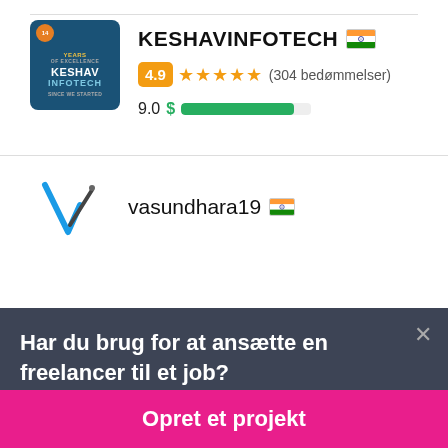[Figure (logo): Keshav Infotech logo - dark blue square with orange circle badge showing '14', company name in white text]
KESHAVINFOTECH 🇮🇳
4.9 ★★★★★ (304 bedømmelser)
9.0 $ ████████░
[Figure (logo): vasundhara19 logo - stylized V with pen/pencil]
vasundhara19 🇮🇳
Har du brug for at ansætte en freelancer til et job?
Opret et projekt